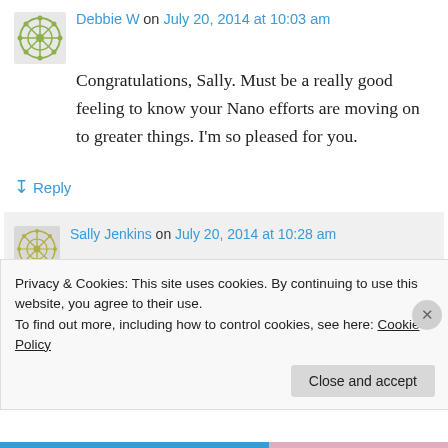Debbie W on July 20, 2014 at 10:03 am
Congratulations, Sally. Must be a really good feeling to know your Nano efforts are moving on to greater things. I'm so pleased for you.
↳ Reply
Sally Jenkins on July 20, 2014 at 10:28 am
Thanks, Debbie. It is reassuring to know that what I produced wasn't total tripe...
Privacy & Cookies: This site uses cookies. By continuing to use this website, you agree to their use.
To find out more, including how to control cookies, see here: Cookie Policy
Close and accept